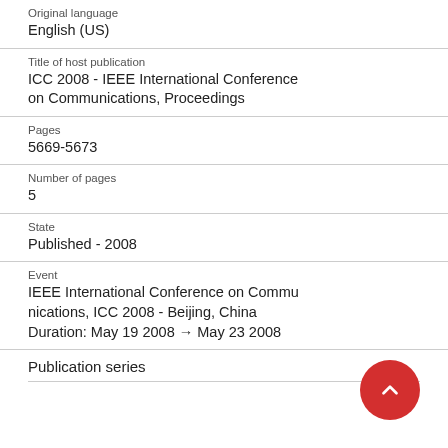Original language
English (US)
Title of host publication
ICC 2008 - IEEE International Conference on Communications, Proceedings
Pages
5669-5673
Number of pages
5
State
Published - 2008
Event
IEEE International Conference on Communications, ICC 2008 - Beijing, China
Duration: May 19 2008 → May 23 2008
Publication series